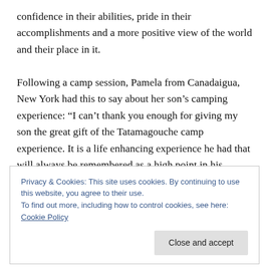confidence in their abilities, pride in their accomplishments and a more positive view of the world and their place in it.

Following a camp session, Pamela from Canadaigua, New York had this to say about her son's camping experience: “I can’t thank you enough for giving my son the great gift of the Tatamagouche camp experience. It is a life enhancing experience he had that will always be remembered as a high point in his childhood. He misses camp very much, but has a newfound upbeat approach that is so nice to see. Thank you all for what you have
Privacy & Cookies: This site uses cookies. By continuing to use this website, you agree to their use.
To find out more, including how to control cookies, see here: Cookie Policy